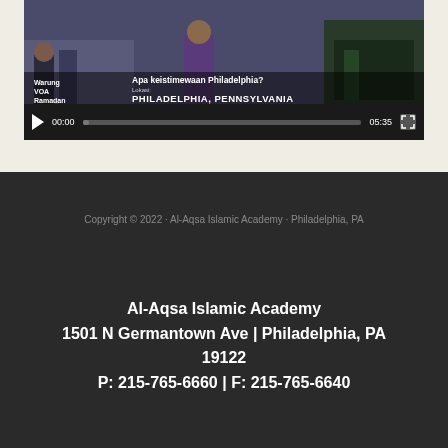[Figure (screenshot): Embedded YouTube video player showing a video about Philadelphia with Indonesian text 'Apa keistimewaan Philadelphia?' (What is special about Philadelphia?), location 'PHILADELPHIA, PENNSYLVANIA', with video controls showing 00:00 / 05:35 timestamp.]
Copyright © 2022 · Al-Aqsa Islamic Academy · Philadelphia, PA
Al-Aqsa Islamic Academy
1501 N Germantown Ave | Philadelphia, PA 19122
P: 215-765-6660 | F: 215-765-6640